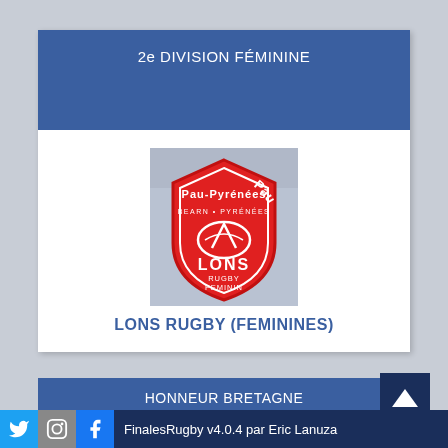2e DIVISION FÉMININE
[Figure (logo): Pau-Pyrénées Lons Rugby Féminin club logo — red shield with mountain and rugby ball motif, text LONS RUGBY FEMININ, BEARN PYRENEES]
LONS RUGBY (FEMININES)
HONNEUR BRETAGNE
FinalesRugby v4.0.4 par Eric Lanuza